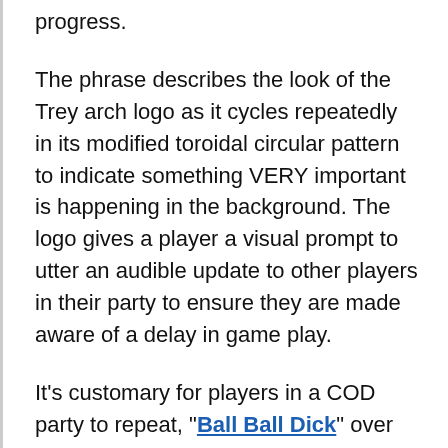progress.
The phrase describes the look of the Trey arch logo as it cycles repeatedly in its modified toroidal circular pattern to indicate something VERY important is happening in the background. The logo gives a player a visual prompt to utter an audible update to other players in their party to ensure they are made aware of a delay in game play.
It's customary for players in a COD party to repeat, "Ball Ball Dick" over and over to ensure other party members can take appropriate action (e.g. crack open a beer, get more Cheetos, replace controller batteries, scratch one's ass, etc.) The phrase is most effective in a sentence, "I'm being